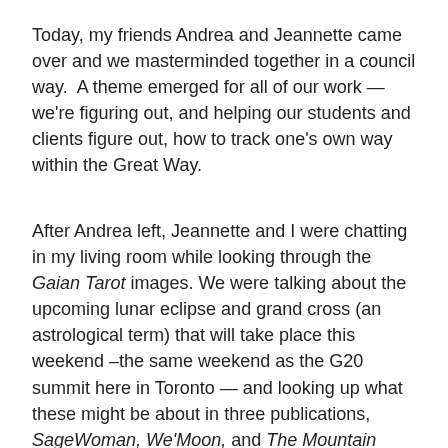Today, my friends Andrea and Jeannette came over and we masterminded together in a council way. A theme emerged for all of our work — we're figuring out, and helping our students and clients figure out, how to track one's own way within the Great Way.
After Andrea left, Jeannette and I were chatting in my living room while looking through the Gaian Tarot images. We were talking about the upcoming lunar eclipse and grand cross (an astrological term) that will take place this weekend –the same weekend as the G20 summit here in Toronto — and looking up what these might be about in three publications, SageWoman, We'Moon, and The Mountain Astrologer. I'll spare you the details, but it all distilled down to this statement (papaphrased here from page 105 of the current Mountain Astrologer):